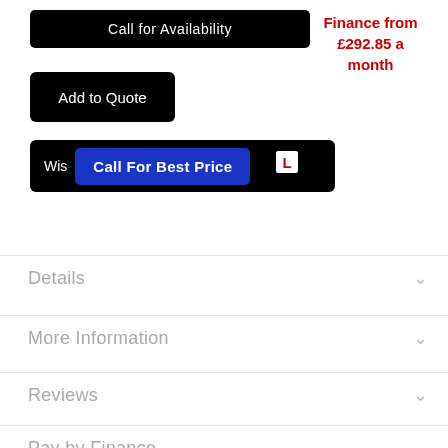Call for Availability
Finance from £292.85 a month
Add to Quote
Wis Call For Best Price
Details
More Information
Reviews
Pay by Finance